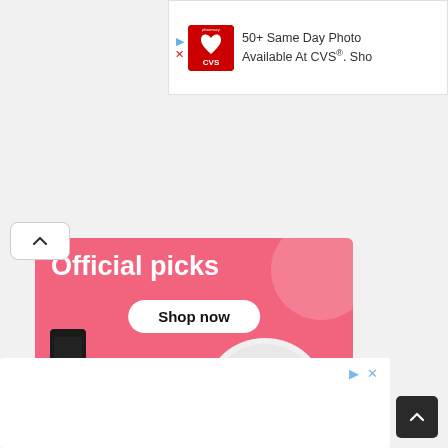[Figure (screenshot): Top advertisement banner for CVS Pharmacy showing '50+ Same Day Photo Available At CVS®. Sh...' with CVS logo]
[Figure (infographic): Pink 'Official picks' promotional banner with 'Shop now' button and product images including a robot vacuum cleaner and Nintendo Switch OLED console]
[Figure (screenshot): Bottom white advertisement placeholder area with ad controls (play triangle and X icons)]
[Figure (other): Dark scroll-to-top button with upward chevron arrow in bottom-right corner]